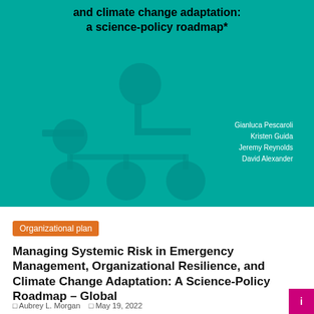[Figure (illustration): Teal/turquoise book cover background with decorative organizational chart circles and connecting bars. Title text on cover reads 'and climate change adaptation: a science-policy roadmap*'. Authors listed: Gianluca Pescaroli, Kristen Guida, Jeremy Reynolds, David Alexander.]
and climate change adaptation: a science-policy roadmap*
Gianluca Pescaroli
Kristen Guida
Jeremy Reynolds
David Alexander
Organizational plan
Managing Systemic Risk in Emergency Management, Organizational Resilience, and Climate Change Adaptation: A Science-Policy Roadmap – Global
Aubrey L. Morgan   May 19, 2022